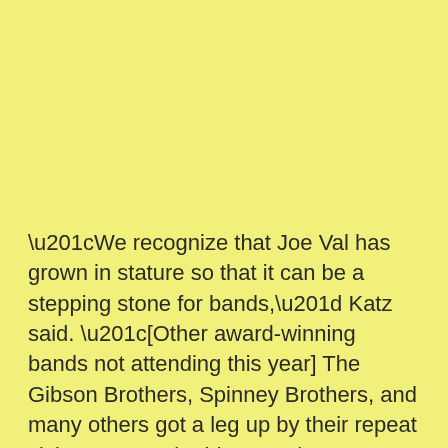“We recognize that Joe Val has grown in stature so that it can be a stepping stone for bands,” Katz said. “[Other award-winning bands not attending this year] The Gibson Brothers, Spinney Brothers, and many others got a leg up by their repeat visits to Joe Val. This year, I’m excited to have Frank Solivan and Dirty Kitchen back again. Great band out of the DC area with a nice edge to their sound. Jim Hurst, formerly with Claire Lynch, has carved out quite a niche with his